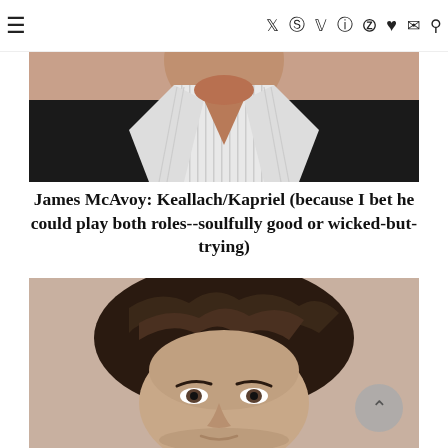≡  Twitter Pinterest Facebook Instagram YouTube ♥ Mail Search
[Figure (photo): Cropped photo of a man's neck and chest area wearing a white striped dress shirt open at the collar with a dark jacket, showing tanned skin.]
James McAvoy: Keallach/Kapriel (because I bet he could play both roles--soulfully good or wicked-but-trying)
[Figure (photo): Close-up photo of James McAvoy's face showing dark wavy hair, with a scroll-to-top button (chevron up) overlaid at bottom right.]